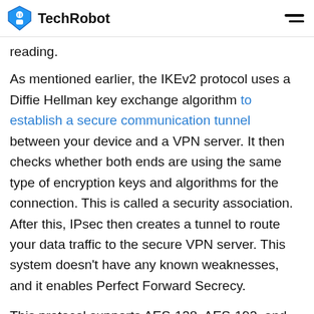TechRobot
reading.
As mentioned earlier, the IKEv2 protocol uses a Diffie Hellman key exchange algorithm to establish a secure communication tunnel between your device and a VPN server. It then checks whether both ends are using the same type of encryption keys and algorithms for the connection. This is called a security association. After this, IPsec then creates a tunnel to route your data traffic to the secure VPN server. This system doesn't have any known weaknesses, and it enables Perfect Forward Secrecy.
This protocol supports AES-128, AES-192, and AES-256 encryption. It also uses several other ciphers like 3DES, Camellia, and ChaCha20. In addition, IKEv2 uses server certificate authentication to ensure that no